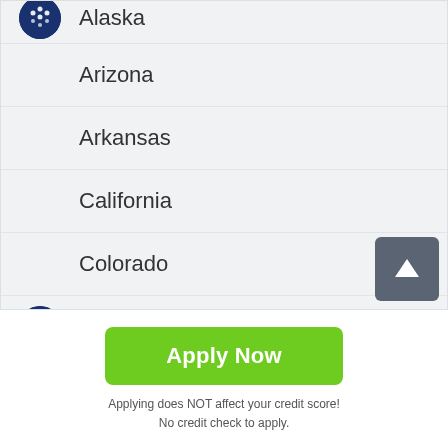Alaska
Arizona
Arkansas
California
Colorado
Connecticut
Apply Now
Applying does NOT affect your credit score! No credit check to apply.